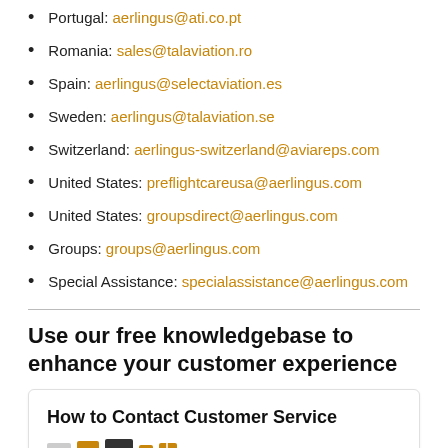Portugal: aerlingus@ati.co.pt
Romania: sales@talaviation.ro
Spain: aerlingus@selectaviation.es
Sweden: aerlingus@talaviation.se
Switzerland: aerlingus-switzerland@aviareps.com
United States: preflightcareusa@aerlingus.com
United States: groupsdirect@aerlingus.com
Groups: groups@aerlingus.com
Special Assistance: specialassistance@aerlingus.com
Use our free knowledgebase to enhance your customer experience
[Figure (screenshot): Card preview showing 'How to Contact Customer Service' article with thumbnail images and 'In this' label visible at bottom]